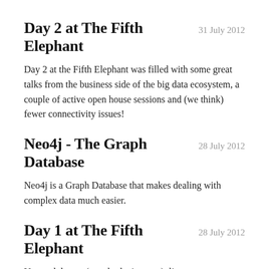Day 2 at The Fifth Elephant   31 July 2012
Day 2 at the Fifth Elephant was filled with some great talks from the business side of the big data ecosystem, a couple of active open house sessions and (we think) fewer connectivity issues!
Neo4j - The Graph Database   28 July 2012
Neo4j is a Graph Database that makes dealing with complex data much easier.
Day 1 at The Fifth Elephant   28 July 2012
Ups and downs (mostly the internet), live stream, hashtag spam and a great turn out on the first day of The Fifth Elephant.